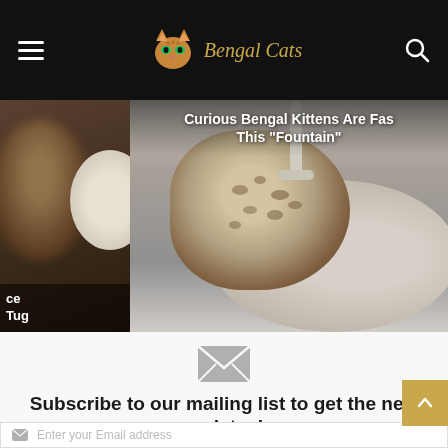Bengal Cats — site header with hamburger menu and search icon
[Figure (screenshot): Left hero panel with blurred cat silhouette and partial title text ending in 'ce' and 'Tug']
[Figure (photo): Bengal kitten at a fountain or sink, with overlay text 'Curious Bengal Kittens Are Fascinated By This "Fountain"']
[Figure (illustration): Gray envelope icon for mailing list subscribe section]
Subscribe to our mailing list to get the new updates!
Sign up to receive top stories and quality content about everything Bengal cats in your inbox for free.
Enter your Email address